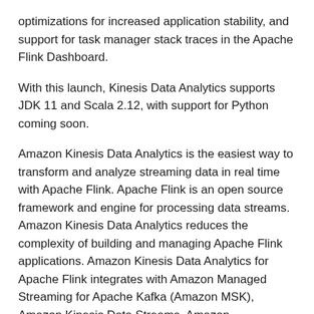optimizations for increased application stability, and support for task manager stack traces in the Apache Flink Dashboard.
With this launch, Kinesis Data Analytics supports JDK 11 and Scala 2.12, with support for Python coming soon.
Amazon Kinesis Data Analytics is the easiest way to transform and analyze streaming data in real time with Apache Flink. Apache Flink is an open source framework and engine for processing data streams. Amazon Kinesis Data Analytics reduces the complexity of building and managing Apache Flink applications. Amazon Kinesis Data Analytics for Apache Flink integrates with Amazon Managed Streaming for Apache Kafka (Amazon MSK), Amazon Kinesis Data Streams, Amazon Elasticsearch Service, Amazon DynamoDB streams Amazon S3, custom integrations, and more using built-in connectors.
You can learn more about Amazon Kinesis Data Analytics for Apache Flink in our documentation. You can learn more about what Flink 1.11 offers by visiting the official website.